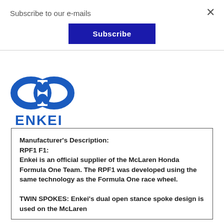Subscribe to our e-mails
Subscribe
[Figure (logo): Enkei logo — blue stylized infinity/loop symbol above bold blue text 'ENKEI']
Manufacturer's Description:
RPF1 F1:
Enkei is an official supplier of the McLaren Honda Formula One Team. The RPF1 was developed using the same technology as the Formula One race wheel.

TWIN SPOKES: Enkei's dual open stance spoke design is used on the McLaren